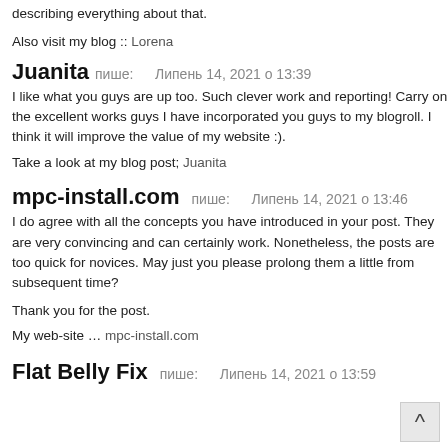describing everything about that.
Also visit my blog :: Lorena
Juanita пише:    Липень 14, 2021 о 13:39
I like what you guys are up too. Such clever work and reporting! Carry on the excellent works guys I have incorporated you guys to my blogroll. I think it will improve the value of my website :).
Take a look at my blog post; Juanita
mpc-install.com пише:    Липень 14, 2021 о 13:46
I do agree with all the concepts you have introduced in your post. They are very convincing and can certainly work. Nonetheless, the posts are too quick for novices. May just you please prolong them a little from subsequent time?
Thank you for the post.
My web-site … mpc-install.com
Flat Belly Fix пише:    Липень 14, 2021 о 13:59